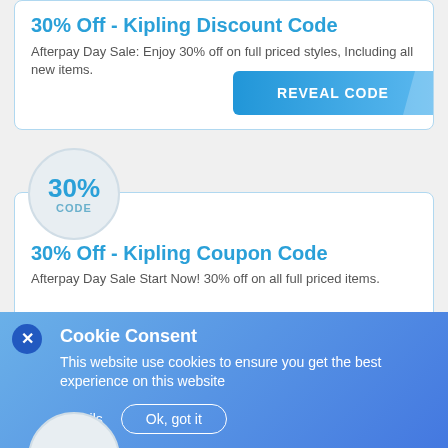30% Off - Kipling Discount Code
Afterpay Day Sale: Enjoy 30% off on full priced styles, Including all new items.
REVEAL CODE
[Figure (other): Circular badge showing 30% CODE]
30% Off - Kipling Coupon Code
Afterpay Day Sale Start Now! 30% off on all full priced items.
REVEAL CODE
[Figure (other): Partial circular badge at bottom of page]
Cookie Consent
This website use cookies to ensure you get the best experience on this website
Details
Ok, got it